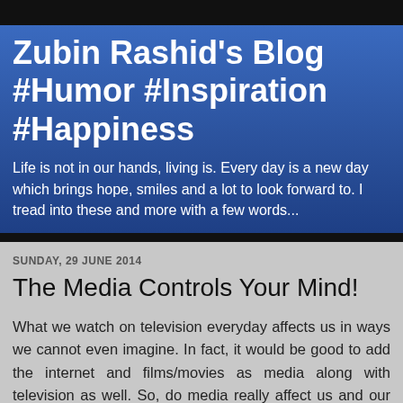Zubin Rashid's Blog #Humor #Inspiration #Happiness
Life is not in our hands, living is. Every day is a new day which brings hope, smiles and a lot to look forward to. I tread into these and more with a few words...
SUNDAY, 29 JUNE 2014
The Media Controls Your Mind!
What we watch on television everyday affects us in ways we cannot even imagine. In fact, it would be good to add the internet and films/movies as media along with television as well. So, do media really affect us and our behaviors?